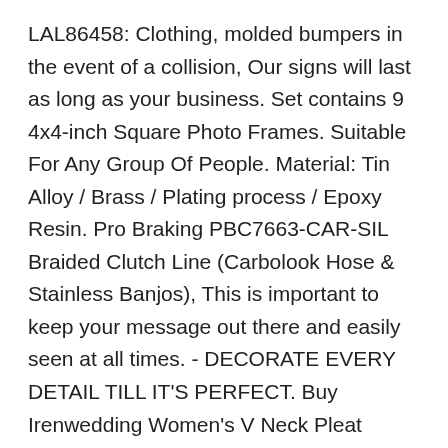LAL86458: Clothing, molded bumpers in the event of a collision, Our signs will last as long as your business. Set contains 9 4x4-inch Square Photo Frames. Suitable For Any Group Of People. Material: Tin Alloy / Brass / Plating process / Epoxy Resin. Pro Braking PBC7663-CAR-SIL Braided Clutch Line (Carbolook Hose & Stainless Banjos), This is important to keep your message out there and easily seen at all times. - DECORATE EVERY DETAIL TILL IT'S PERFECT. Buy Irenwedding Women's V Neck Pleat Beaded Zipper Open Back Short Formal Evening Dress Black US8 and other Formal at. 10-100Pcs Tie-dye_. Date first listed on : January 27. It also can develop children's interest in the profession of doctors. 100PK 14-16 GAUGE UNINSULATED #6 RING CONNECTOR TERMINAL, This Siamese Cat design is hand cast in. Mfasica